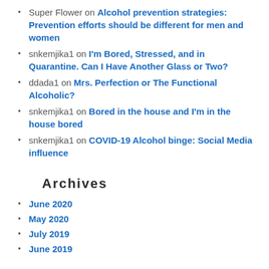Super Flower on Alcohol prevention strategies: Prevention efforts should be different for men and women
snkemjika1 on I'm Bored, Stressed, and in Quarantine. Can I Have Another Glass or Two?
ddada1 on Mrs. Perfection or The Functional Alcoholic?
snkemjika1 on Bored in the house and I'm in the house bored
snkemjika1 on COVID-19 Alcohol binge: Social Media influence
Archives
June 2020
May 2020
July 2019
June 2019
Categories
Uncategorized